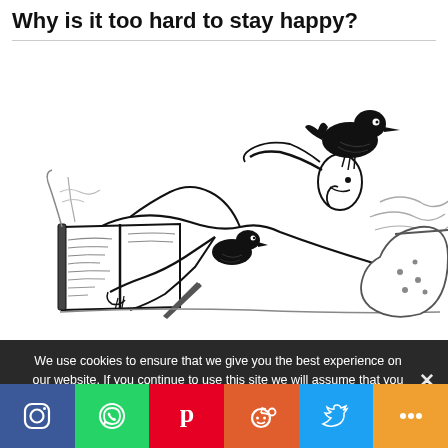Why is it too hard to stay happy?
[Figure (illustration): Black and white line drawing of a person lying down reading/writing in a book, with two black birds (crows/ravens) perched on them — one on the shoulder/head and one on the arm. The scene has a whimsical, vintage illustration style.]
We use cookies to ensure that we give you the best experience on our website. If you continue to use this site we will assume that you are happy with it.
Social share bar: Instagram, WhatsApp, Pinterest, Reddit, Twitter, More